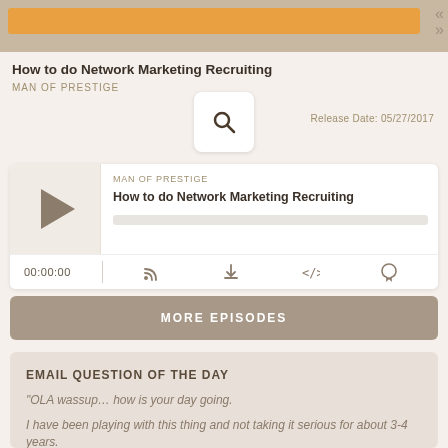[Figure (screenshot): Top bar with orange search/progress bar and scroll arrows]
How to do Network Marketing Recruiting
MAN OF PRESTIGE
Release Date: 05/27/2017
[Figure (screenshot): Podcast audio player card with play button, episode title 'How to do Network Marketing Recruiting', progress bar, time display 00:00:00 and media control icons]
MORE EPISODES
EMAIL QUESTION OF THE DAY
“OLA wassup… how is your day going.
I have been playing with this thing and not taking it serious for about 3-4 years.